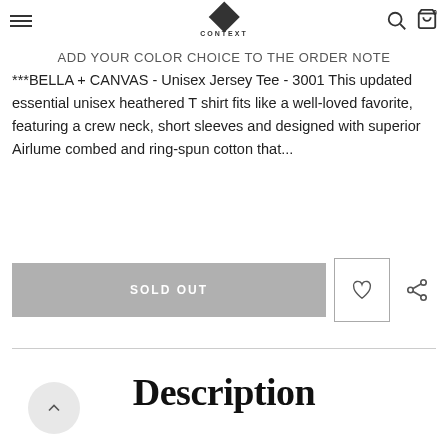CONTEXT
ADD YOUR COLOR CHOICE TO THE ORDER NOTE
***BELLA + CANVAS - Unisex Jersey Tee - 3001 This updated essential unisex heathered T shirt fits like a well-loved favorite, featuring a crew neck, short sleeves and designed with superior Airlume combed and ring-spun cotton that...
[Figure (other): SOLD OUT button with wishlist heart icon and share icon]
Description